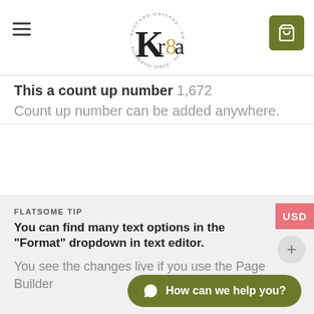[Figure (screenshot): Website header with hamburger menu, Kr8a logo in center, and green shopping cart icon on right]
This a count up number 1,672
Count up number can be added anywhere.
FLATSOME TIP
You can find many text options in the “Format” dropdown in text editor.
You see the changes live if you use the Page Builder